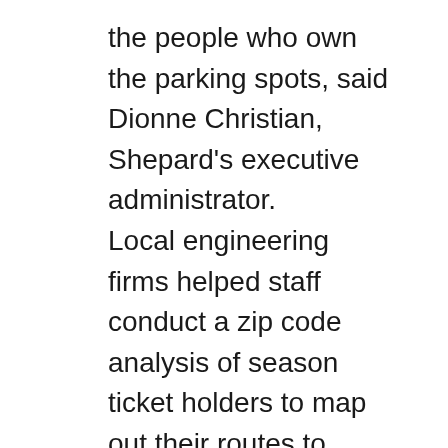the people who own the parking spots, said Dionne Christian, Shepard's executive administrator. Local engineering firms helped staff conduct a zip code analysis of season ticket holders to map out their routes to downtown. They found truckstop owners and industrial parks in east Hillsborough where employees were willing to let the arts center park 13 semi trucks full of Hamilton's costumes and set pieces throughout the show's run. That freed up much-needed street parking near the